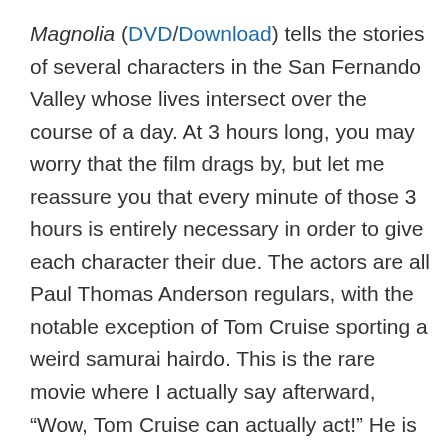Magnolia (DVD/Download) tells the stories of several characters in the San Fernando Valley whose lives intersect over the course of a day. At 3 hours long, you may worry that the film drags by, but let me reassure you that every minute of those 3 hours is entirely necessary in order to give each character their due. The actors are all Paul Thomas Anderson regulars, with the notable exception of Tom Cruise sporting a weird samurai hairdo. This is the rare movie where I actually say afterward, “Wow, Tom Cruise can actually act!” He is surprising and amazing in Magnolia, as is the rest of the large cast. As their stories weave back and forth, you realize how interconnected we all are. The movie is about coincidences and fate, and the connections that we make with other people in our lives. The script is superb, and